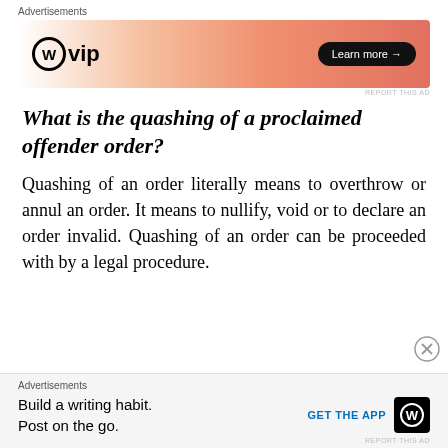[Figure (other): WordPress VIP advertisement banner with gradient orange background and 'Learn more →' button]
What is the quashing of a proclaimed offender order?
Quashing of an order literally means to overthrow or annul an order. It means to nullify, void or to declare an order invalid. Quashing of an order can be proceeded with by a legal procedure.
[Figure (other): WordPress app advertisement: 'Build a writing habit. Post on the go.' with GET THE APP button and WordPress logo]